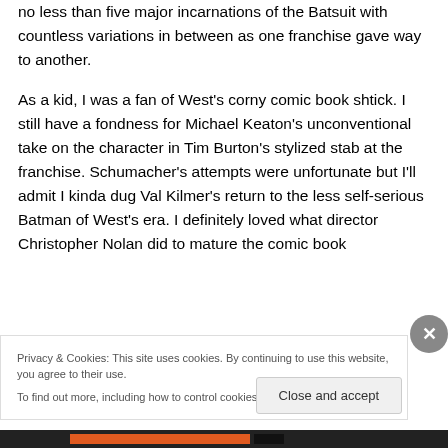no less than five major incarnations of the Batsuit with countless variations in between as one franchise gave way to another.

As a kid, I was a fan of West's corny comic book shtick. I still have a fondness for Michael Keaton's unconventional take on the character in Tim Burton's stylized stab at the franchise. Schumacher's attempts were unfortunate but I'll admit I kinda dug Val Kilmer's return to the less self-serious Batman of West's era. I definitely loved what director Christopher Nolan did to mature the comic book
Privacy & Cookies: This site uses cookies. By continuing to use this website, you agree to their use.
To find out more, including how to control cookies, see here: Cookie Policy
Close and accept